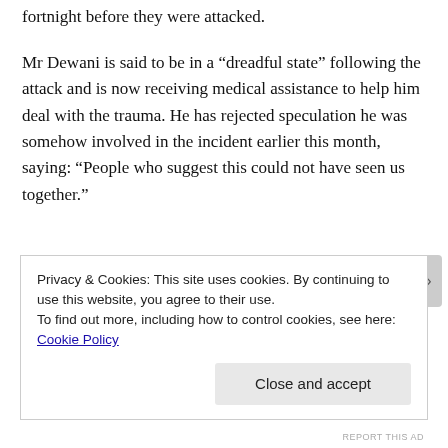fortnight before they were attacked.
Mr Dewani is said to be in a “dreadful state” following the attack and is now receiving medical assistance to help him deal with the trauma. He has rejected speculation he was somehow involved in the incident earlier this month, saying: “People who suggest this could not have seen us together.”
His brother Preyen Dewani issued a statement through publicists Max Clifford Associates on Wednesday dismissing “totally false accusations blaming him for what happened to his wife from people seeking to divert this
Privacy & Cookies: This site uses cookies. By continuing to use this website, you agree to their use.
To find out more, including how to control cookies, see here: Cookie Policy
Close and accept